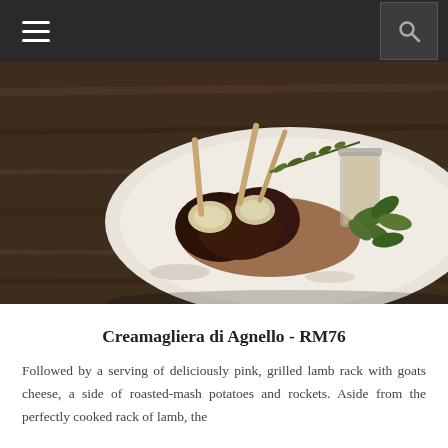Navigation bar with menu and search icons
[Figure (photo): Plated dish of grilled lamb rack (Creamagliera di Agnello) on a white plate with goats cheese, roasted-mash potatoes, rockets/arugula, and a glass of sauce. Dark wooden table background.]
Creamagliera di Agnello - RM76
Followed by a serving of deliciously pink, grilled lamb rack with goats cheese, a side of roasted-mash potatoes and rockets. Aside from the perfectly cooked rack of lamb, the